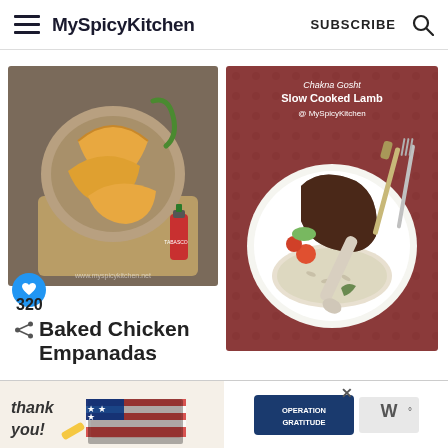MySpicyKitchen  SUBSCRIBE
[Figure (photo): Baked chicken empanadas in a metal bowl on a wooden board with a hot sauce bottle, from myspicykitchen.net]
[Figure (photo): Slow cooked lamb on a white plate with rice and vegetables, labeled 'Slow Cooked Lamb @ MySpicyKitchen']
320
Baked Chicken Empanadas
[Figure (photo): Advertisement banner: 'thank you!' with American flag and firefighters on left; 'OPERATION GRATITUDE' logo on right]